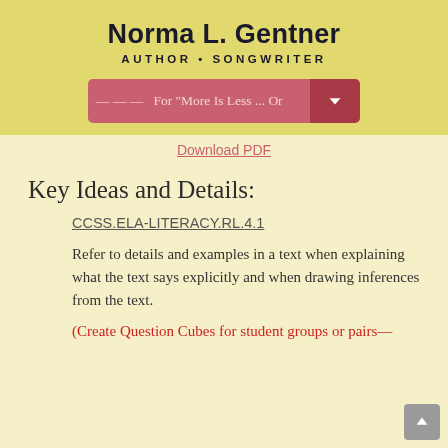Norma L. Gentner
AUTHOR • SONGWRITER
— — —   For "More Is Less ... Or  ▾
Download PDF
Key Ideas and Details:
CCSS.ELA-LITERACY.RL.4.1
Refer to details and examples in a text when explaining what the text says explicitly and when drawing inferences from the text.
(Create Question Cubes for student groups or pairs—